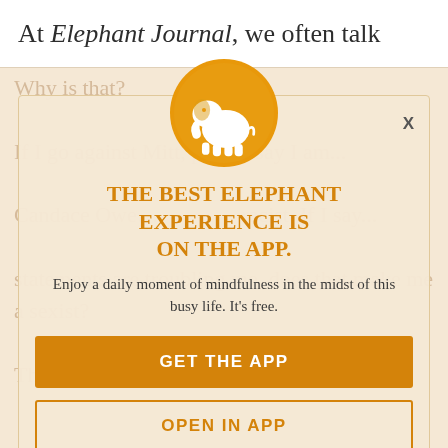At Elephant Journal, we often talk
about over-sharing when it comes to relationships. This is gaslighting in politics. Why is that?

If I go against Mitt, people say I am...

Candace Owe... racist. If I say...

statements are troubling me, does that make me a sexist?

The answer is simple: no.
[Figure (logo): Orange circle with white elephant silhouette logo for Elephant Journal app]
THE BEST ELEPHANT EXPERIENCE IS ON THE APP.
Enjoy a daily moment of mindfulness in the midst of this busy life. It's free.
GET THE APP
OPEN IN APP